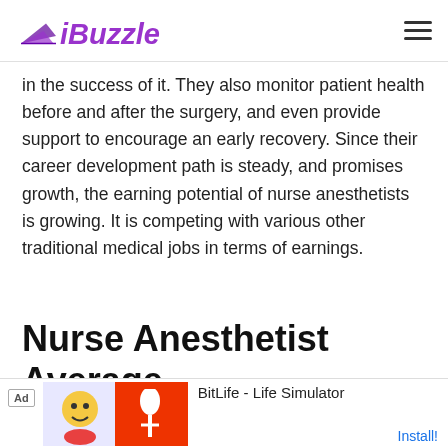iBuzzle
in the success of it. They also monitor patient health before and after the surgery, and even provide support to encourage an early recovery. Since their career development path is steady, and promises growth, the earning potential of nurse anesthetists is growing. It is competing with various other traditional medical jobs in terms of earnings.
Nurse Anesthetist Average Salary
[Figure (screenshot): Advertisement banner for BitLife - Life Simulator app with install button]